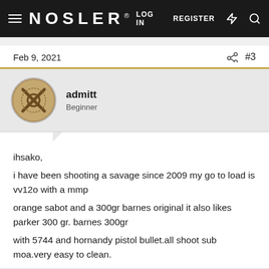NOSLER® LOG IN   REGISTER
Feb 9, 2021   #3
admitt
Beginner
ihsako,
i have been shooting a savage since 2009 my go to load is vv12o with a mmp
orange sabot and a 300gr barnes original it also likes parker 300 gr. barnes 300gr
with 5744 and hornandy pistol bullet.all shoot sub moa.very easy to clean.